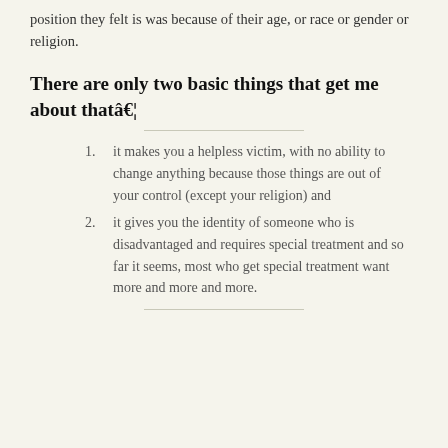position they felt is was because of their age, or race or gender or religion.
There are only two basic things that get me about thatâ€¦
it makes you a helpless victim, with no ability to change anything because those things are out of your control (except your religion) and
it gives you the identity of someone who is disadvantaged and requires special treatment and so far it seems, most who get special treatment want more and more and more.